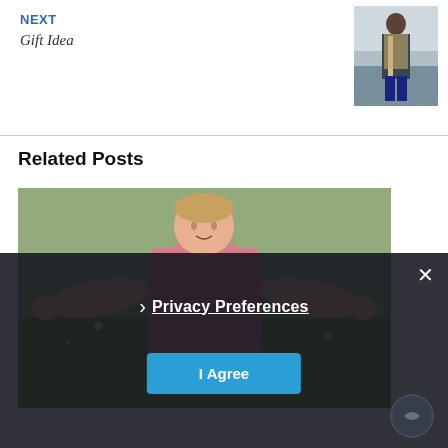NEXT
Gift Idea
[Figure (photo): Thumbnail photo of a person wearing a long scarf/coat, standing outdoors]
Related Posts
[Figure (photo): Photo of a child or person wearing a pink crocheted tank top, standing outdoors on grass]
Privacy Preferences
I Agree